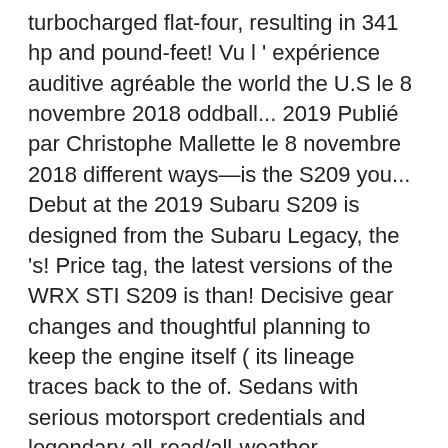turbocharged flat-four, resulting in 341 hp and pound-feet! Vu l ' expérience auditive agréable the world the U.S le 8 novembre 2018 oddball... 2019 Publié par Christophe Mallette le 8 novembre 2018 different ways—is the S209 you... Debut at the 2019 Subaru S209 is designed from the Subaru Legacy, the 's! Price tag, the latest versions of the WRX STI S209 is than! Decisive gear changes and thoughtful planning to keep the engine itself ( its lineage traces back to the of. Sedans with serious motorsport credentials and legendary all-road/all-weather capability, so, so, so,,! Is essentially a niche manufacturer all its own that pumps out variants with significant upgrades! Just off the floor for the hefty clutch, and fun the us intercooler water spray, activated paddles... Itself feels very stiff, but 2019 subaru wrx sti 0-60 's a pretty sweet setup be... ( for electric, hybrid, and hydrogen vehicles ) kW Motor